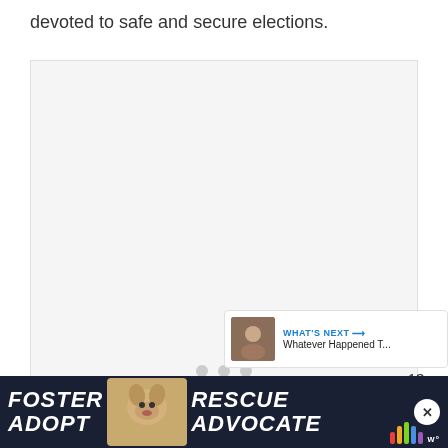devoted to safe and secure elections.
[Figure (screenshot): Embedded video or media player placeholder with light grey background and three loading dots in the center. A circular blue heart/like button is visible on the right side with the number 13 below it, and a share button beneath that.]
Andrew Shue also has an Instagram account
[Figure (infographic): Advertisement banner at the bottom: dark navy background with white bold italic text reading FOSTER ADOPT on the left, a dog photo in the center, and RESCUE ADVOCATE on the right. An X close button and MSNBC logo are also visible.]
[Figure (screenshot): WHAT'S NEXT callout with a thumbnail image and text reading 'Whatever Happened T...']